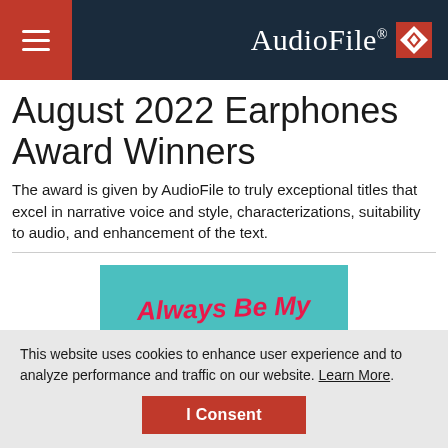AudioFile® — navigation header with hamburger menu
August 2022 Earphones Award Winners
The award is given by AudioFile to truly exceptional titles that excel in narrative voice and style, characterizations, suitability to audio, and enhancement of the text.
[Figure (illustration): Book cover image for 'Always Be My Duchess' on teal background]
This website uses cookies to enhance user experience and to analyze performance and traffic on our website. Learn More. I Consent